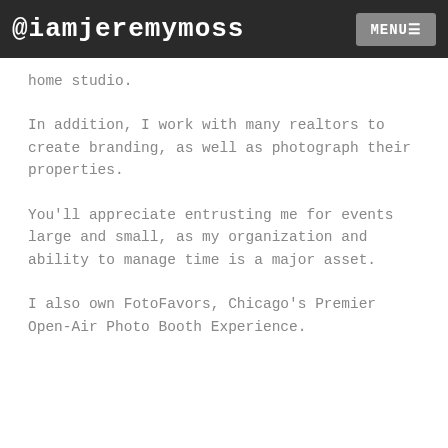@iamjeremymoss  MENU
home studio.
In addition, I work with many realtors to create branding, as well as photograph their properties.
You'll appreciate entrusting me for events large and small, as my organization and ability to manage time is a major asset.
I also own FotoFavors, Chicago's Premier Open-Air Photo Booth Experience.